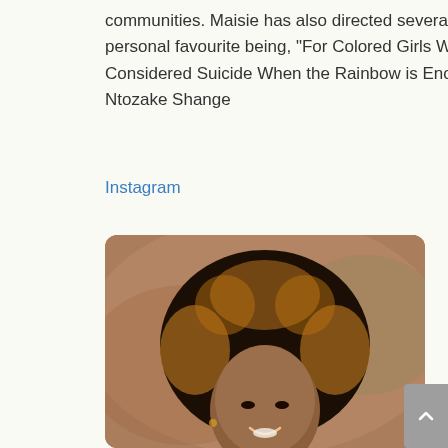communities. Maisie has also directed several plays, a personal favourite being, “For Colored Girls Who Have Considered Suicide When the Rainbow is Enough” by Ntozake Shange
Instagram
[Figure (photo): Portrait photo of a woman with a large natural afro hairstyle with golden-brown highlights, smiling, with a blurred brownish-orange background]